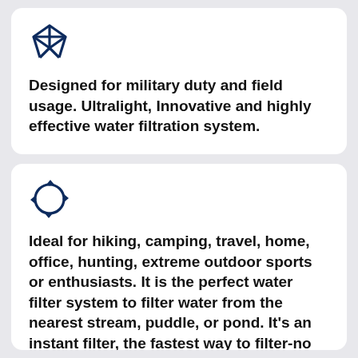[Figure (logo): Dark navy blue outline icon resembling a geometric shape with triangular/diamond facets, similar to a Unity-style logo]
Designed for military duty and field usage. Ultralight, Innovative and highly effective water filtration system.
[Figure (logo): Dark navy blue outline icon resembling circular arrows or a recycling/connectivity symbol with four curved arrow heads]
Ideal for hiking, camping, travel, home, office, hunting, extreme outdoor sports or enthusiasts. It is the perfect water filter system to filter water from the nearest stream, puddle, or pond. It's an instant filter, the fastest way to filter-no power required, never pump